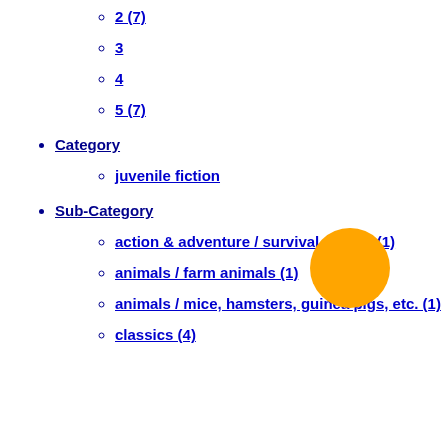2 (7)
3
4
5 (7)
Category
juvenile fiction
Sub-Category
action & adventure / survival stories (1)
animals / farm animals (1)
animals / mice, hamsters, guinea pigs, etc. (1)
classics (4)